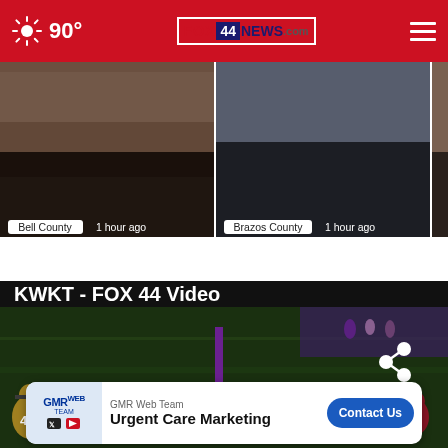90° FOX 44 NEWS.com
[Figure (screenshot): News card: Two Injured at Central Texas State Fair, Bell County, 1 hour ago]
[Figure (screenshot): News card: Two found dead in Bryan homicide, Brazos County, 1 hour ago]
[Figure (screenshot): Partial news card: Central State Fa..., Bell County]
KWKT - FOX 44 Video
[Figure (screenshot): Football game video thumbnail with players on field, share icon in top right, close button]
[Figure (screenshot): Ad banner: GMR Web Team - Urgent Care Marketing - Contact Us button]